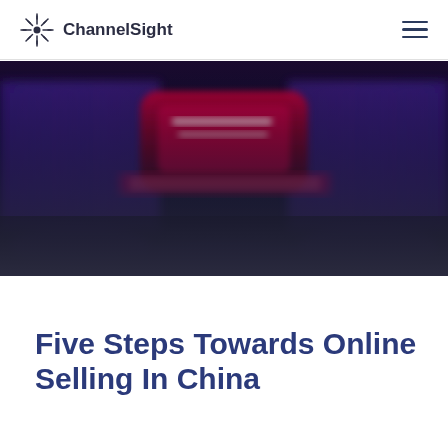ChannelSight
[Figure (photo): Blurred photo of a large indoor arena or event venue with blue and purple stage lighting and Chinese text on a central display screen, fading to a dark gradient at the bottom]
Five Steps Towards Online Selling In China